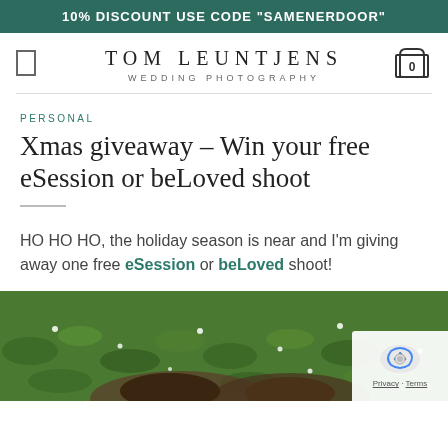10% DISCOUNT USE CODE "SAMENERDOOR"
TOM LEUNTJENS
WEDDING PHOTOGRAPHY
PERSONAL
Xmas giveaway – Win your free eSession or beLoved shoot
HO HO HO, the holiday season is near and I'm giving away one free eSession or beLoved shoot!
[Figure (photo): Couple lying on green grass with small white flowers, shot from above, close-up of faces]